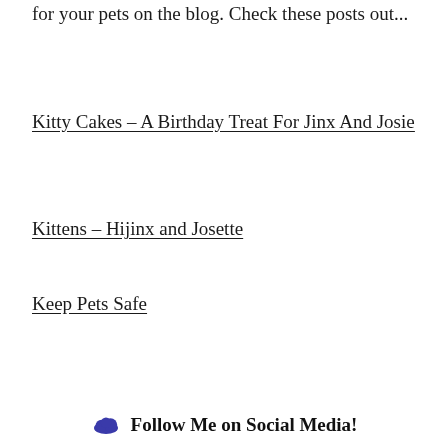for your pets on the blog. Check these posts out...
Kitty Cakes – A Birthday Treat For Jinx And Josie
Kittens – Hijinx and Josette
Keep Pets Safe
Follow Me on Social Media!